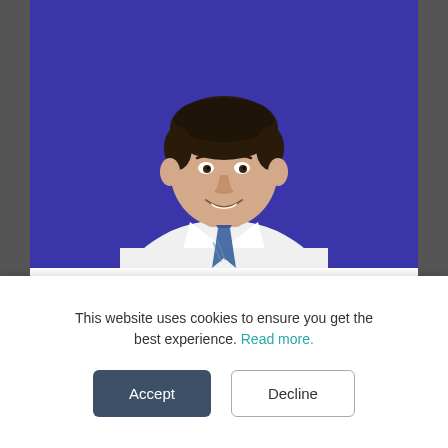[Figure (photo): A smiling young man in a white dress shirt and blue striped tie, posed against a bright blue/purple background. Upper body portrait shot.]
REPLICANT FOR
Insurance
This website uses cookies to ensure you get the best experience. Read more.
Accept
Decline